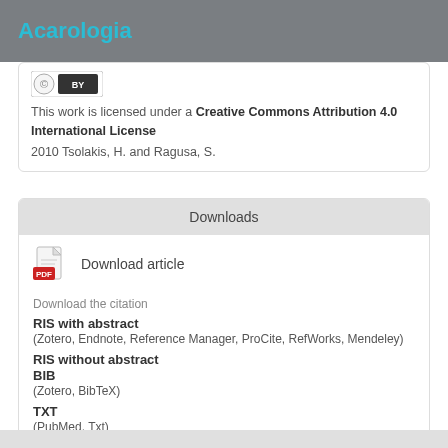Acarologia
[Figure (logo): Creative Commons BY license icon]
This work is licensed under a Creative Commons Attribution 4.0 International License
2010 Tsolakis, H. and Ragusa, S.
Downloads
Download article
Download the citation
RIS with abstract
(Zotero, Endnote, Reference Manager, ProCite, RefWorks, Mendeley)
RIS without abstract
BIB
(Zotero, BibTeX)
TXT
(PubMed, Txt)